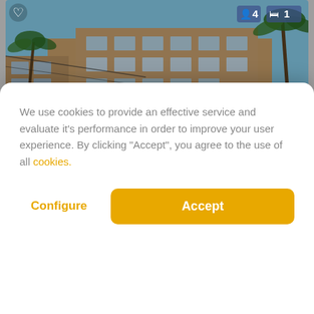[Figure (photo): Hotel building exterior photo with pool area and palm trees, dimmed background. Shows a multi-story beige hotel with balconies and blue sky. Heart/favorite icon top left, guest count badges (person icon: 4, bed icon: 1) top right.]
We use cookies to provide an effective service and evaluate it's performance in order to improve your user experience. By clicking "Accept", you agree to the use of all cookies.
Configure
Accept
€210
+ INFO